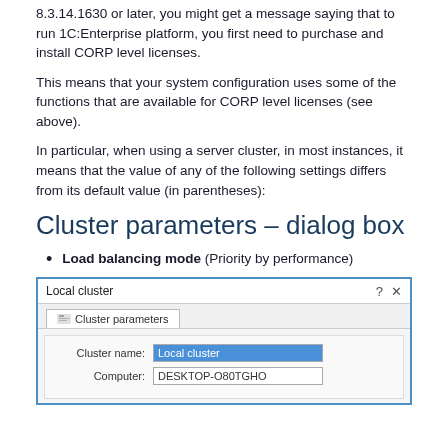8.3.14.1630 or later, you might get a message saying that to run 1C:Enterprise platform, you first need to purchase and install CORP level licenses.
This means that your system configuration uses some of the functions that are available for CORP level licenses (see above).
In particular, when using a server cluster, in most instances, it means that the value of any of the following settings differs from its default value (in parentheses):
Cluster parameters – dialog box
Load balancing mode (Priority by performance)
[Figure (screenshot): Screenshot of a 'Local cluster' dialog box showing a 'Cluster parameters' tab with fields for Cluster name (filled with 'Local cluster' highlighted in blue) and Computer (showing 'DESKTOP-O80TGHO')]